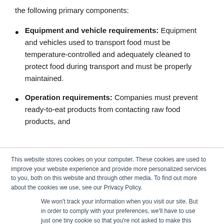the following primary components:
Equipment and vehicle requirements: Equipment and vehicles used to transport food must be temperature-controlled and adequately cleaned to protect food during transport and must be properly maintained.
Operation requirements: Companies must prevent ready-to-eat products from contacting raw food products, and
This website stores cookies on your computer. These cookies are used to improve your website experience and provide more personalized services to you, both on this website and through other media. To find out more about the cookies we use, see our Privacy Policy.
We won't track your information when you visit our site. But in order to comply with your preferences, we'll have to use just one tiny cookie so that you're not asked to make this choice again.